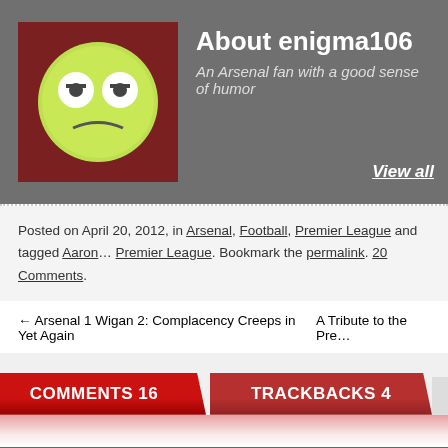About enigma106
An Arsenal fan with a good sense of humor
View all
Posted on April 20, 2012, in Arsenal, Football, Premier League and tagged Aaron…Premier League. Bookmark the permalink. 20 Comments.
← Arsenal 1 Wigan 2: Complacency Creeps in Yet Again
A Tribute to the Pre…
COMMENTS 16
TRACKBACKS 4
kris | April 20, 2012 at 06:20
the thing is if we don't criticize him then he may never improve